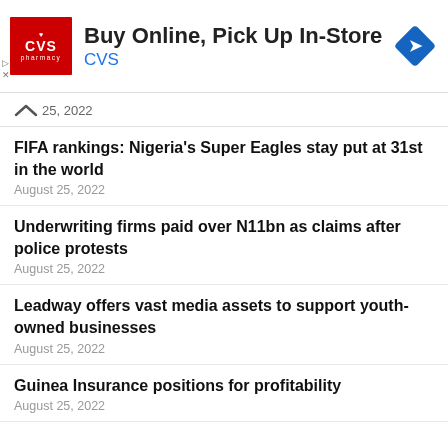[Figure (other): CVS Pharmacy advertisement banner: red CVS logo on left, text 'Buy Online, Pick Up In-Store' and 'CVS' in blue, navigation diamond icon on right]
25, 2022
FIFA rankings: Nigeria's Super Eagles stay put at 31st in the world
August 25, 2022
Underwriting firms paid over N11bn as claims after police protests
August 25, 2022
Leadway offers vast media assets to support youth-owned businesses
August 25, 2022
Guinea Insurance positions for profitability
August 25, 2022